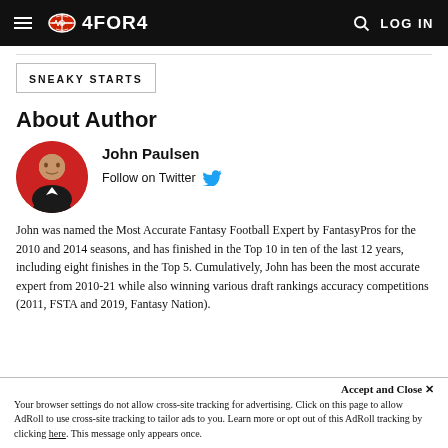4FOR4 — LOG IN
SNEAKY STARTS
About Author
[Figure (photo): Circular headshot photo of John Paulsen, a man in a suit, against a red circle background]
John Paulsen
Follow on Twitter
John was named the Most Accurate Fantasy Football Expert by FantasyPros for the 2010 and 2014 seasons, and has finished in the Top 10 in ten of the last 12 years, including eight finishes in the Top 5. Cumulatively, John has been the most accurate expert from 2010-21 while also winning various draft rankings accuracy competitions (2011, FSTA and 2019, Fantasy Nation).
Accept and Close ✕
Your browser settings do not allow cross-site tracking for advertising. Click on this page to allow AdRoll to use cross-site tracking to tailor ads to you. Learn more or opt out of this AdRoll tracking by clicking here. This message only appears once.